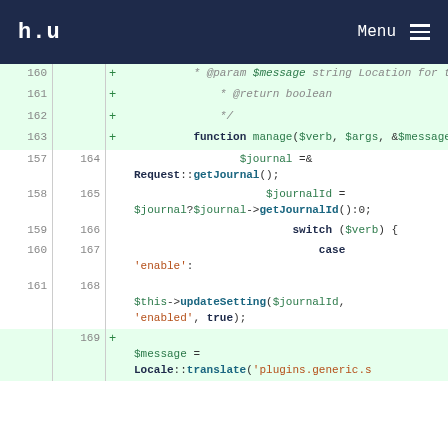h.u   Menu
[Figure (screenshot): Code diff view showing PHP code with line numbers. Lines 160-169 shown with added lines (green background) and unchanged lines (white). Code includes function manage($verb, $args, &$message) with $journal, $journalId, switch statement, case 'enable', $this->updateSetting and $message = Locale::translate calls.]